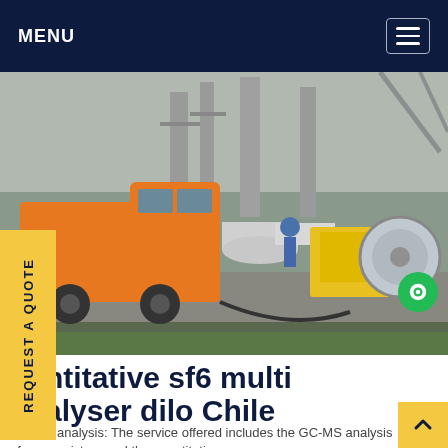MENU
[Figure (photo): Industrial field site with an orange utility truck, worker in blue helmet, yellow equipment unit, large white cylindrical tanks, and industrial machinery. Outdoor setting with overcast sky.]
REQUEST A QUOTE
quantitative sf6 multi analyser dilo Chile
GC-MS analysis: The service offered includes the GC-MS analysis of a gas mixture and the quantitative